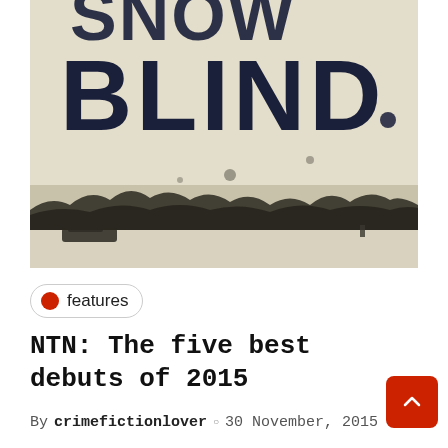[Figure (photo): Book cover close-up showing large bold dark text 'BLIND' (with partial 'SNOW' or similar above it) on a worn, textured cream/beige background with a wintry snowy landscape scene at bottom including trees, figures, and a vehicle]
features
NTN: The five best debuts of 2015
By crimefictionlover ○ 30 November, 2015